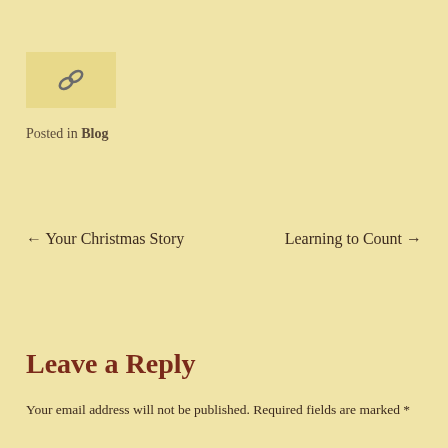[Figure (illustration): A link/chain icon symbol displayed inside a light yellow-beige rectangular box]
Posted in Blog
← Your Christmas Story
Learning to Count →
Leave a Reply
Your email address will not be published. Required fields are marked *